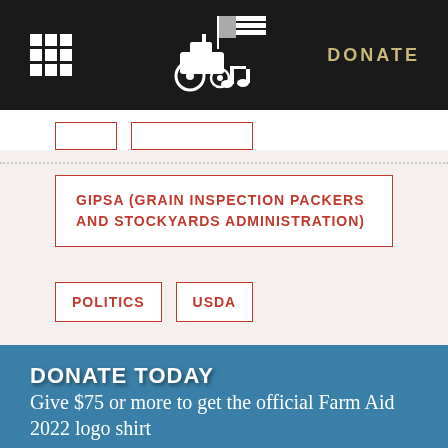DONATE
GIPSA (GRAIN INSPECTION PACKERS AND STOCKYARDS ADMINISTRATION)
POLITICS
USDA
DONATE TODAY
Give $75 or more to get the official Farm Aid 2022 logo shirt